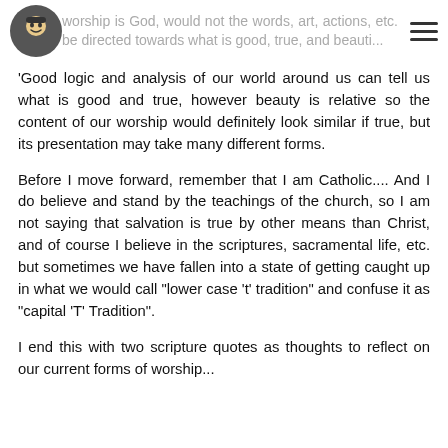worship is God, would not the words, art, actions, etc. be directed towards what is good, true, and beautiful
'Good logic and analysis of our world around us can tell us what is good and true, however beauty is relative so the content of our worship would definitely look similar if true, but its presentation may take many different forms.
Before I move forward, remember that I am Catholic.... And I do believe and stand by the teachings of the church, so I am not saying that salvation is true by other means than Christ, and of course I believe in the scriptures, sacramental life, etc. but sometimes we have fallen into a state of getting caught up in what we would call "lower case 't' tradition" and confuse it as "capital 'T' Tradition".
I end this with two scripture quotes as thoughts to reflect on our current forms of worship...